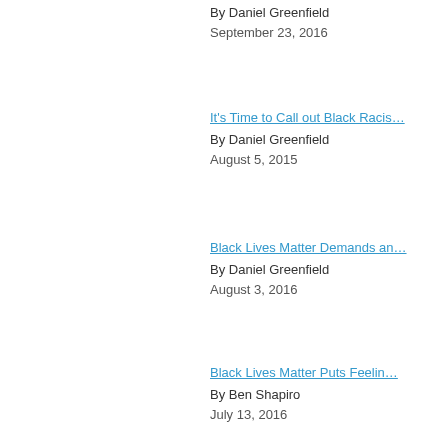By Daniel Greenfield
September 23, 2016
It's Time to Call out Black Racis…
By Daniel Greenfield
August 5, 2015
Black Lives Matter Demands an…
By Daniel Greenfield
August 3, 2016
Black Lives Matter Puts Feelin…
By Ben Shapiro
July 13, 2016